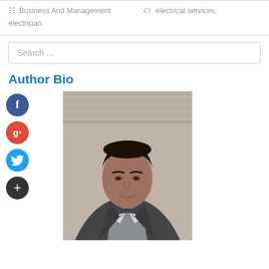Business And Management   electrical services, electrician
Search ...
Author Bio
[Figure (photo): Headshot of a middle-aged man in a grey blazer with a white shirt, dark hair, slight smile, photographed indoors against a neutral background. Social media icons (Facebook, Google+, Twitter, Plus) appear to the left of the photo.]